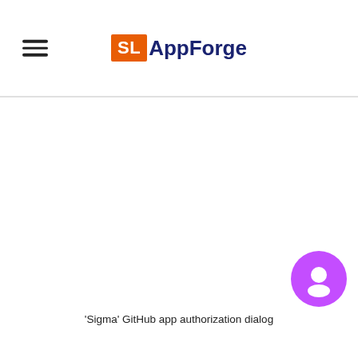SL AppForge
[Figure (other): Large white blank area — content area of a webpage]
[Figure (other): Purple circular chat bubble button in bottom-right corner]
'Sigma' GitHub app authorization dialog